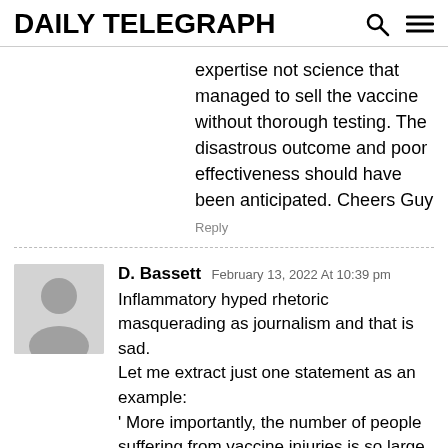DAILY TELEGRAPH
expertise not science that managed to sell the vaccine without thorough testing. The disastrous outcome and poor effectiveness should have been anticipated. Cheers Guy
Reply
D. Bassett  February 13, 2022 At 10:39 pm
Inflammatory hyped rhetoric masquerading as journalism and that is sad.
Let me extract just one statement as an example:
' More importantly, the number of people suffering from vaccine injuries is so large, that almost everyone has a few friends, (I have almost a dozen), who have succumbed to serious injury.'
Show me the evidence of this extraordinary statement, it simply doesn't exist. What has